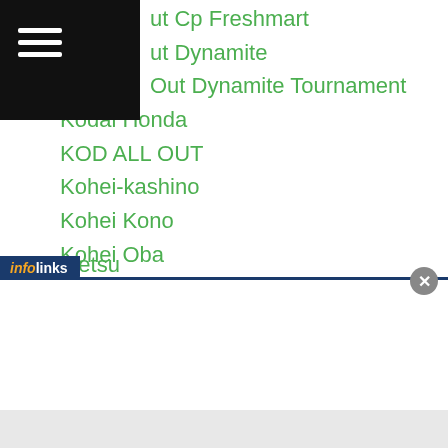ut Cp Freshmart
ut Dynamite
Out Dynamite Tournament
Kodai Honda
KOD ALL OUT
Kohei-kashino
Kohei Kono
Kohei Oba
Koichi Aso
Koichi Ito
Koichi Wajima
Koichi Wakita
Koji Itagaki
Koji Matsumoto
Koji Numata
Koji Sato
...etsu